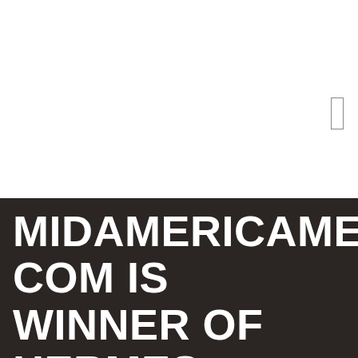[Figure (other): White blank upper section of page with a small rectangular outline icon in the upper right area]
MIDAMERICAMETALS.COM IS WINNER OF HERMES CREATIVE